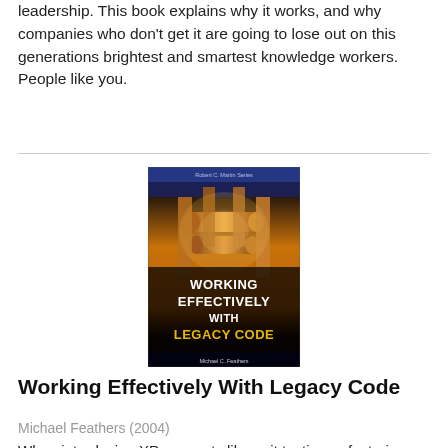leadership. This book explains why it works, and why companies who don't get it are going to lose out on this generations brightest and smartest knowledge workers. People like you.
[Figure (photo): Book cover of 'Working Effectively With Legacy Code' by Michael C. Feathers, part of the Robert C. Martin Series. The cover features industrial machinery in warm gold/orange tones with white and yellow title text.]
Working Effectively With Legacy Code
Michael Feathers (2004)
When introducing XP concepts like unit testing, refactoring, and TDD, one of the questions that inevitably comes up is: "How to I apply this to my legacy code base." This book answers that question. Michael